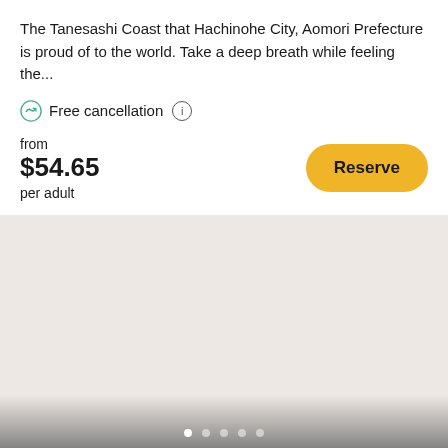The Tanesashi Coast that Hachinohe City, Aomori Prefecture is proud of to the world. Take a deep breath while feeling the...
Free cancellation
from
$54.65
per adult
[Figure (photo): Large image placeholder with beige/cream background, carousel dot indicators at the bottom]
3. Sake Brewery and Back Alley Bar Tour with